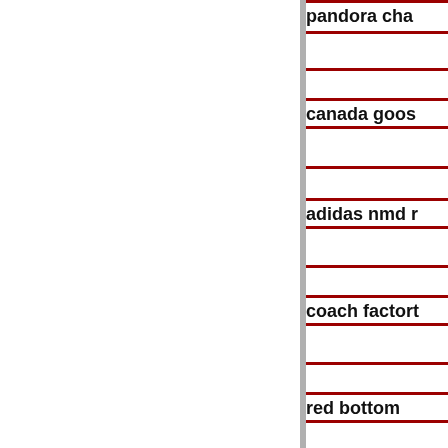pandora cha…
canada goos…
adidas nmd r…
coach factort…
red bottom